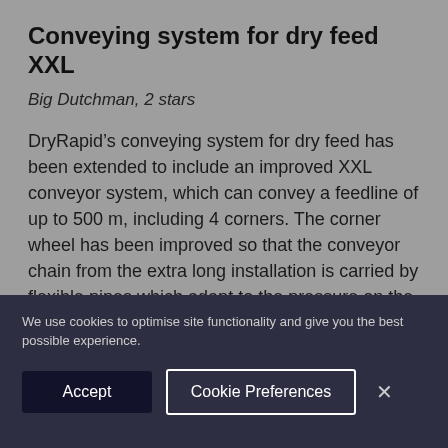Conveying system for dry feed XXL
Big Dutchman, 2 stars
DryRapid's conveying system for dry feed has been extended to include an improved XXL conveyor system, which can convey a feedline of up to 500 m, including 4 corners. The corner wheel has been improved so that the conveyor chain from the extra long installation is carried by flexible pipes which adapt to the pressure on the parts of the chain. The pieces of the chain are
We use cookies to optimise site functionality and give you the best possible experience.